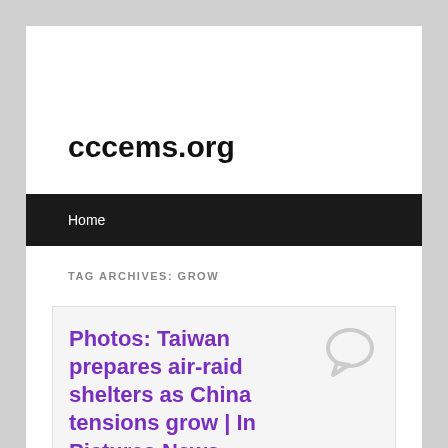cccems.org
Home
TAG ARCHIVES: GROW
Photos: Taiwan prepares air-raid shelters as China tensions grow | In Pictures News